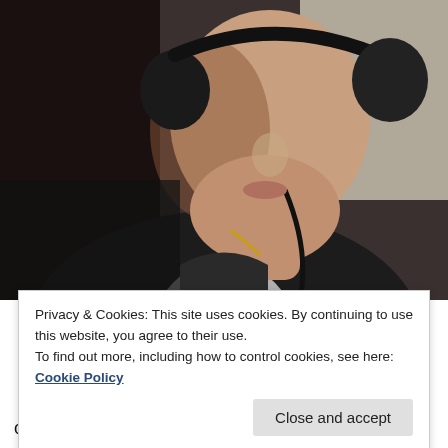[Figure (photo): Close-up photo of a young man wearing large black headphones, dressed in a dark hoodie with a zipper, listening to music. The image is taken at a slight angle showing mainly his lower face, neck, and torso against a light background.]
Privacy & Cookies: This site uses cookies. By continuing to use this website, you agree to their use.
To find out more, including how to control cookies, see here: Cookie Policy
Close and accept
compiling a top twenty of favourite tracks. Certain